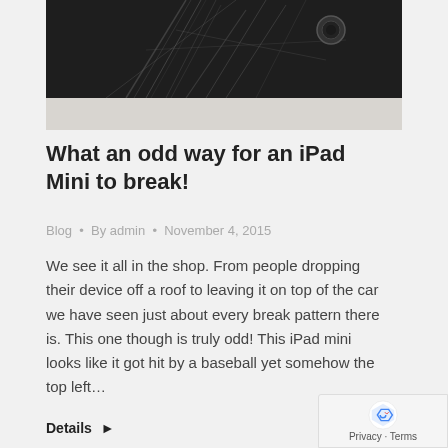[Figure (photo): Cracked iPad Mini screen, dark background, heavy cracking visible at top]
What an odd way for an iPad Mini to break!
Blog • By admin • November 4, 2015
We see it all in the shop. From people dropping their device off a roof to leaving it on top of the car we have seen just about every break pattern there is. This one though is truly odd! This iPad mini looks like it got hit by a baseball yet somehow the top left…
Details ▶